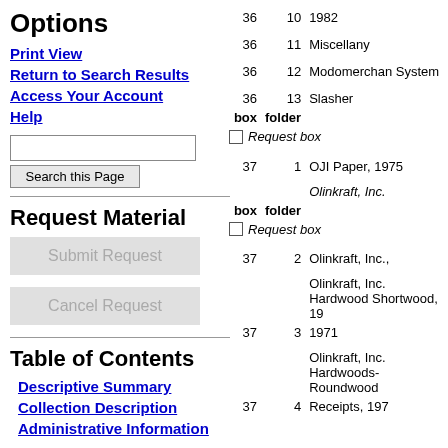Options
Print View
Return to Search Results
Access Your Account
Help
Request Material
Table of Contents
Descriptive Summary
Collection Description
Administrative Information
| box | folder |  |
| --- | --- | --- |
| 36 | 10 | 1982 |
| 36 | 11 | Miscellany |
| 36 | 12 | Modomerchan System |
| 36 | 13 | Slasher |
|  |  | Request box |
| 37 | 1 | OJI Paper, 1975 |
|  |  | Olinkraft, Inc. |
|  |  | Request box |
| 37 | 2 | Olinkraft, Inc., |
|  |  | Olinkraft, Inc. Hardwood Shortwood, 19 |
| 37 | 3 | 1971 |
|  |  | Olinkraft, Inc. Hardwoods-Roundwood |
| 37 | 4 | Receipts, 197 |